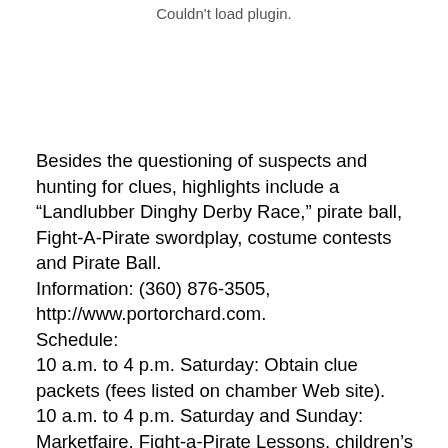Couldn't load plugin.
Besides the questioning of suspects and hunting for clues, highlights include a “Landlubber Dinghy Derby Race,” pirate ball, Fight-A-Pirate swordplay, costume contests and Pirate Ball.
Information: (360) 876-3505, http://www.portorchard.com.
Schedule:
10 a.m. to 4 p.m. Saturday: Obtain clue packets (fees listed on chamber Web site).
10 a.m. to 4 p.m. Saturday and Sunday: Marketfaire, Fight-a-Pirate Lessons, children’s activities.
11 a.m. and 4:30 p.m. Saturday: B.O.O.M. Pirates Cannon Show.